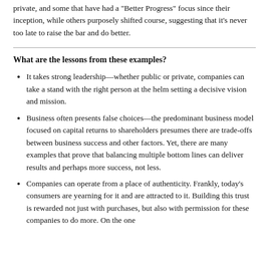private, and some that have had a "Better Progress" focus since their inception, while others purposely shifted course, suggesting that it's never too late to raise the bar and do better.
What are the lessons from these examples?
It takes strong leadership—whether public or private, companies can take a stand with the right person at the helm setting a decisive vision and mission.
Business often presents false choices—the predominant business model focused on capital returns to shareholders presumes there are trade-offs between business success and other factors. Yet, there are many examples that prove that balancing multiple bottom lines can deliver results and perhaps more success, not less.
Companies can operate from a place of authenticity. Frankly, today's consumers are yearning for it and are attracted to it. Building this trust is rewarded not just with purchases, but also with permission for these companies to do more. On the one